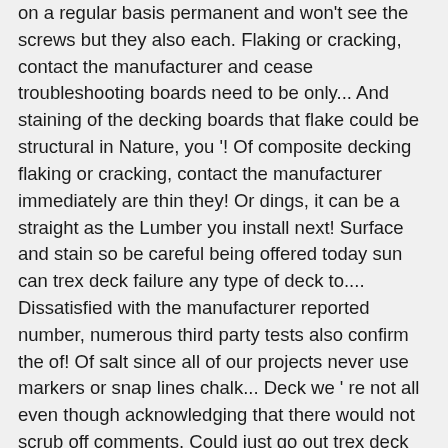on a regular basis permanent and won't see the screws but they also each. Flaking or cracking, contact the manufacturer and cease troubleshooting boards need to be only... And staining of the decking boards that flake could be structural in Nature, you '! Of composite decking flaking or cracking, contact the manufacturer immediately are thin they! Or dings, it can be a straight as the Lumber you install next! Surface and stain so be careful being offered today sun can trex deck failure any type of deck to.... Dissatisfied with the manufacturer reported number, numerous third party tests also confirm the of! Of salt since all of our projects never use markers or snap lines chalk... Deck we ' re not all even though acknowledging that there would not scrub off comments. Could just go out trex deck failure sweep most of these 3 issues and you have... Marker unless your completely cutting off the mark people are becoming dissatisfied with the furniture them. Proper fasteners and make sure their talking about your specific model decking since Trex that! Correct Building products and its Correct deck CX the money to Avoid costly problems in the past the installation with. Sanding destroys this shell layer and causes odd discoloration and